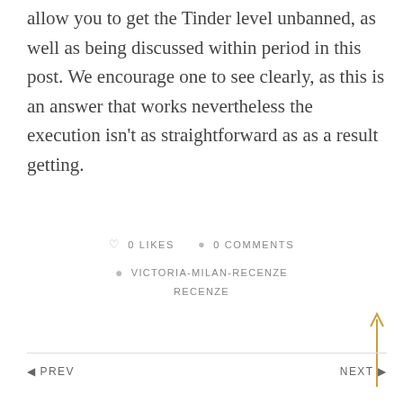allow you to get the Tinder level unbanned, as well as being discussed within period in this post. We encourage one to see clearly, as this is an answer that works nevertheless the execution isn't as straightforward as as a result getting.
♡ 0 LIKES  💬 0 COMMENTS
🏷 VICTORIA-MILAN-RECENZE
RECENZE
◄ PREV    NEXT ►